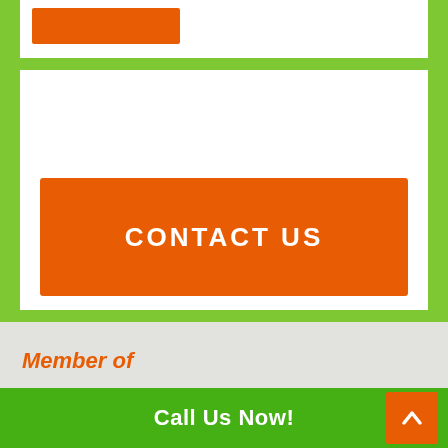[Figure (other): Orange button stub at top of white card (partially visible)]
[Figure (other): Orange CONTACT US button inside white card]
Member of
[Figure (logo): IAGTO logo — dark navy background with blue and green letters IAGTO and globe icon]
Call Us Now!